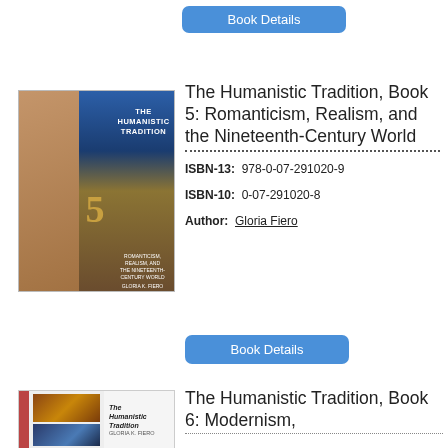[Figure (other): Blue 'Book Details' button at top of page]
[Figure (illustration): Book cover of The Humanistic Tradition Book 5, showing Renoir painting and blue/gold design]
The Humanistic Tradition, Book 5: Romanticism, Realism, and the Nineteenth-Century World
ISBN-13:  978-0-07-291020-9
ISBN-10:  0-07-291020-8
Author:  Gloria Fiero
[Figure (other): Blue 'Book Details' button]
[Figure (illustration): Book cover of The Humanistic Tradition Book 6]
The Humanistic Tradition, Book 6: Modernism,